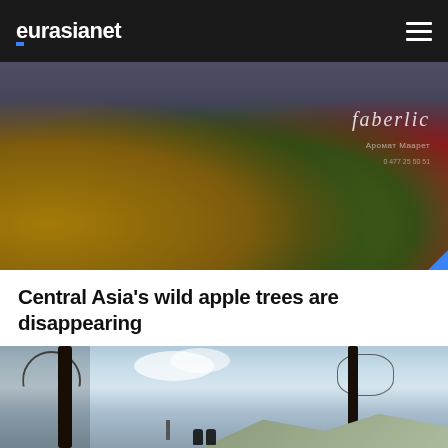eurasianet
[Figure (photo): Market scene showing vendors selling apples and other fruits in colorful bowls, with a Faberlic advertisement sign visible in the background]
Central Asia's wild apple trees are disappearing
[Figure (photo): Bare winter trees against a cloudy sky with mountains in the background and two figures standing near a smokestack]